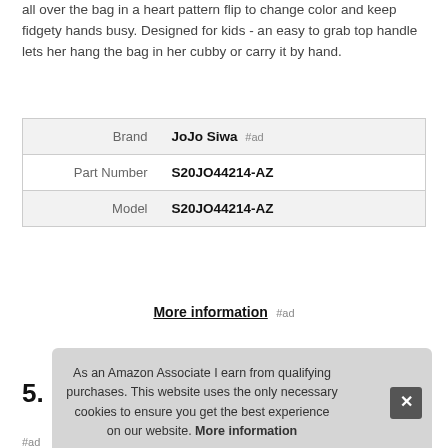all over the bag in a heart pattern flip to change color and keep fidgety hands busy. Designed for kids - an easy to grab top handle lets her hang the bag in her cubby or carry it by hand.
|  |  |
| --- | --- |
| Brand | JoJo Siwa #ad |
| Part Number | S20JO44214-AZ |
| Model | S20JO44214-AZ |
More information #ad
5.
As an Amazon Associate I earn from qualifying purchases. This website uses the only necessary cookies to ensure you get the best experience on our website. More information
#ad